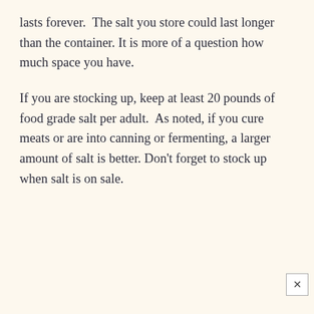lasts forever.  The salt you store could last longer than the container. It is more of a question how much space you have.
If you are stocking up, keep at least 20 pounds of food grade salt per adult.  As noted, if you cure meats or are into canning or fermenting, a larger amount of salt is better. Don't forget to stock up when salt is on sale.